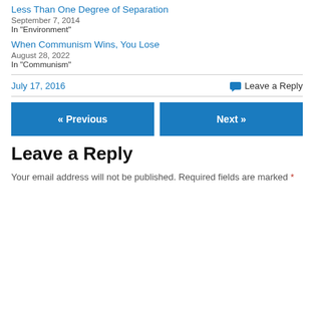Less Than One Degree of Separation
September 7, 2014
In "Environment"
When Communism Wins, You Lose
August 28, 2022
In "Communism"
July 17, 2016
Leave a Reply
« Previous
Next »
Leave a Reply
Your email address will not be published. Required fields are marked *